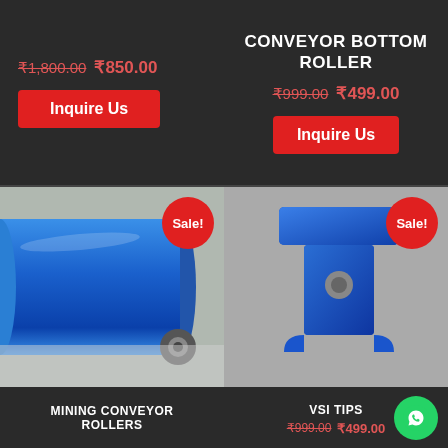₹1,800.00 ₹850.00 Inquire Us
CONVEYOR BOTTOM ROLLER ₹999.00 ₹499.00 Inquire Us
[Figure (photo): Close-up photo of a blue cylindrical conveyor roller showing bearing end, with a red Sale! badge in the top-right corner]
MINING CONVEYOR ROLLERS
[Figure (photo): Close-up photo of a blue T-shaped VSI tip/bracket component on a gray background, with a red Sale! badge in the top-right corner]
VSI TIPS ₹999.00 ₹499.00